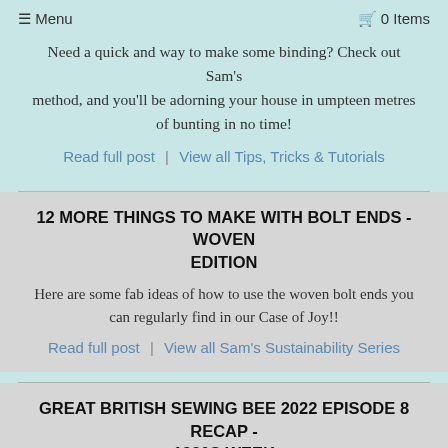≡ Menu   🛒 0 Items
Need a quick and way to make some binding? Check out Sam's method, and you'll be adorning your house in umpteen metres of bunting in no time!
Read full post  |  View all Tips, Tricks & Tutorials
12 MORE THINGS TO MAKE WITH BOLT ENDS - WOVEN EDITION
Here are some fab ideas of how to use the woven bolt ends you can regularly find in our Case of Joy!!
Read full post  |  View all Sam's Sustainability Series
GREAT BRITISH SEWING BEE 2022 EPISODE 8 RECAP - 1930S WEEK